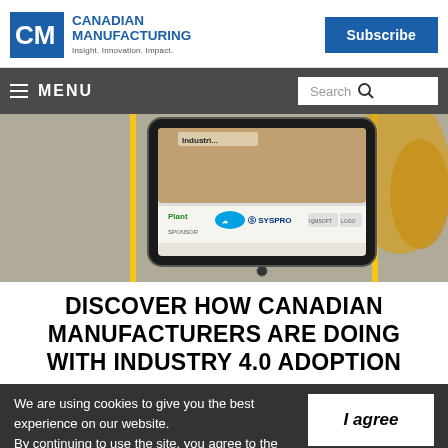CANADIAN MANUFACTURING — Insight. Innovation. Impact.
[Figure (screenshot): Tablet device showing Industry 4.0 report with Plant, Salesforce, SYSPRO and other sponsor logos, with industrial robot arm in background]
DISCOVER HOW CANADIAN MANUFACTURERS ARE DOING WITH INDUSTRY 4.0 ADOPTION
We are using cookies to give you the best experience on our website. By continuing to use the site, you agree to the use of cookies. To find out more, read our privacy policy.
I agree